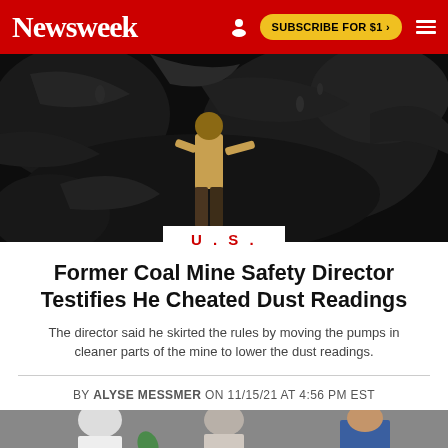Newsweek  SUBSCRIBE FOR $1 >
[Figure (photo): A coal miner working in a dark underground mine, pressing against a coal seam wall, wearing a yellow shirt and dark pants]
U.S.
Former Coal Mine Safety Director Testifies He Cheated Dust Readings
The director said he skirted the rules by moving the pumps in cleaner parts of the mine to lower the dust readings.
BY ALYSE MESSMER ON 11/15/21 AT 4:56 PM EST
[Figure (photo): Partial view of people at the bottom of the page, cropped]